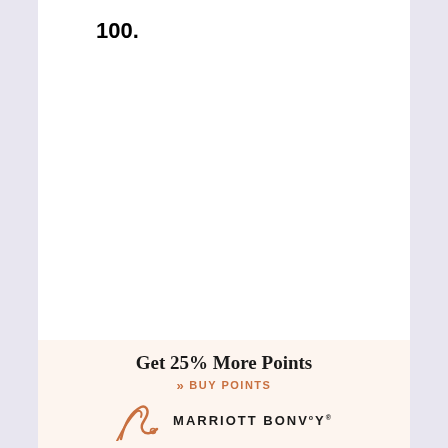100.
[Figure (infographic): Marriott Bonvoy advertisement banner with peach/cream background. Text reads 'Get 25% More Points' with a 'BUY POINTS' call-to-action in orange and the Marriott Bonvoy logo with a decorative script mark.]